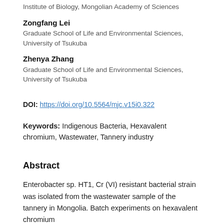Institute of Biology, Mongolian Academy of Sciences
Zongfang Lei
Graduate School of Life and Environmental Sciences, University of Tsukuba
Zhenya Zhang
Graduate School of Life and Environmental Sciences, University of Tsukuba
DOI: https://doi.org/10.5564/mjc.v15i0.322
Keywords: Indigenous Bacteria, Hexavalent chromium, Wastewater, Tannery industry
Abstract
Enterobacter sp. HT1, Cr (VI) resistant bacterial strain was isolated from the wastewater sample of the tannery in Mongolia. Batch experiments on hexavalent chromium